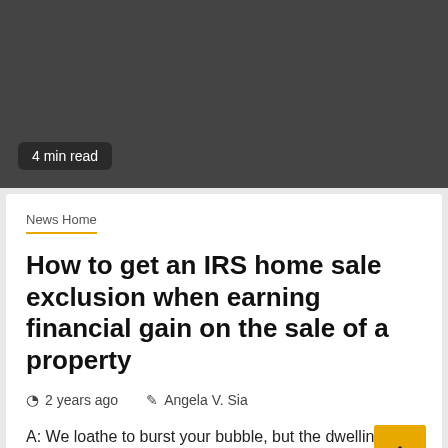[Figure (photo): Dark gray image area representing a header photograph for a news article]
4 min read
News Home
How to get an IRS home sale exclusion when earning financial gain on the sale of a property
2 years ago   Angela V. Sia
A: We loathe to burst your bubble, but the dwelling sale exclusion rule will probable not utilize to you in...